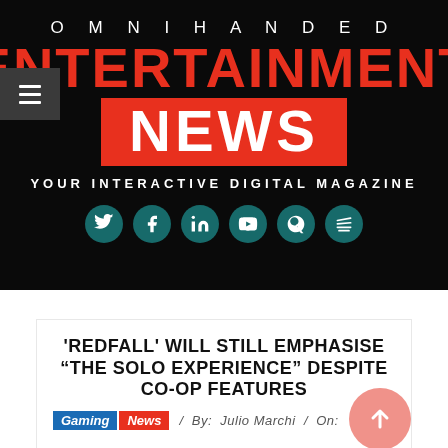OMNIHANDED ENTERTAINMENT NEWS YOUR INTERACTIVE DIGITAL MAGAZINE
'REDFALL' WILL STILL EMPHASISE “THE SOLO EXPERIENCE” DESPITE CO-OP FEATURES
Gaming News / By: Julio Marchi / On: